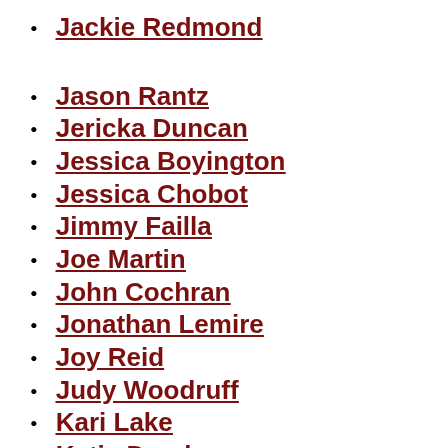Jackie Redmond
Jason Rantz
Jericka Duncan
Jessica Boyington
Jessica Chobot
Jimmy Failla
Joe Martin
John Cochran
Jonathan Lemire
Joy Reid
Judy Woodruff
Kari Lake
Katie Daryl
Kayla Braxton
Katie Moran (partial)